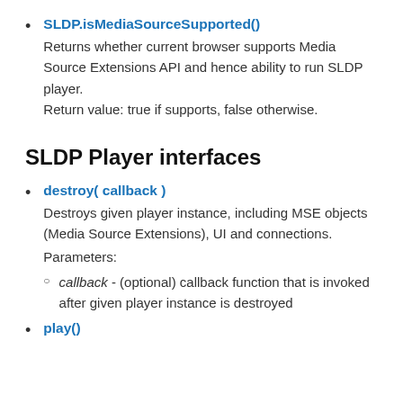SLDP.isMediaSourceSupported() - Returns whether current browser supports Media Source Extensions API and hence ability to run SLDP player. Return value: true if supports, false otherwise.
SLDP Player interfaces
destroy( callback ) - Destroys given player instance, including MSE objects (Media Source Extensions), UI and connections. Parameters: callback - (optional) callback function that is invoked after given player instance is destroyed
play()